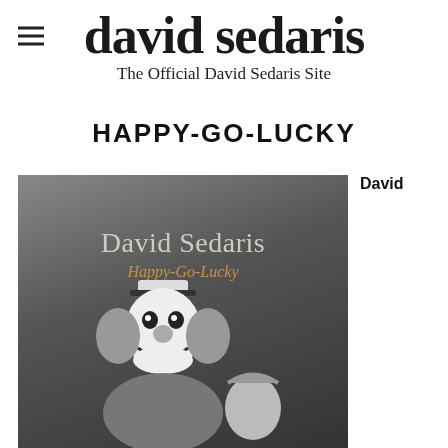david sedaris – The Official David Sedaris Site
HAPPY-GO-LUCKY
[Figure (illustration): Book cover for Happy-Go-Lucky by David Sedaris. Grayscale image showing a clown and a child. Cover text reads 'David Sedaris' in light sage green and 'Happy-Go-Lucky' in golden/amber italic text.]
David